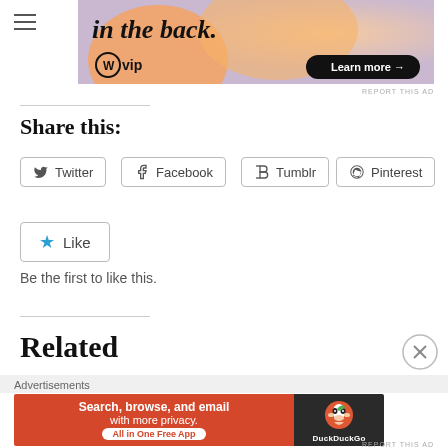[Figure (screenshot): Hamburger menu icon (three horizontal lines)]
[Figure (screenshot): WordPress VIP advertisement banner with orange gradient background, text 'in the back.', WordPress logo with 'vip', and 'Learn more' button]
REPORT THIS AD
Share this:
Twitter
Facebook
Tumblr
Pinterest
Like
Be the first to like this.
Related
Advertisements
[Figure (screenshot): DuckDuckGo advertisement: 'Search, browse, and email with more privacy. All in One Free App' on red background with DuckDuckGo logo on dark background]